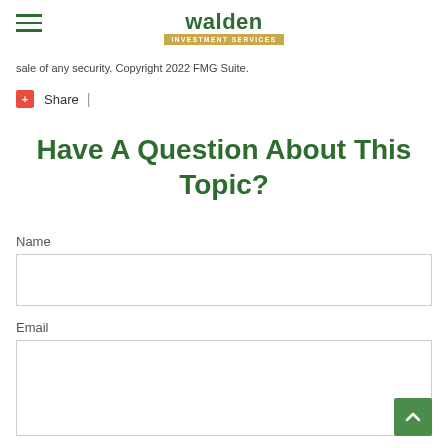walden INVESTMENT SERVICES
sale of any security. Copyright 2022 FMG Suite.
Share |
Have A Question About This Topic?
Name
Email